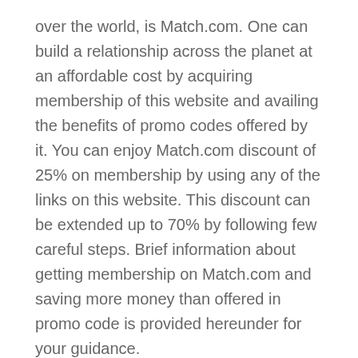over the world, is Match.com. One can build a relationship across the planet at an affordable cost by acquiring membership of this website and availing the benefits of promo codes offered by it. You can enjoy Match.com discount of 25% on membership by using any of the links on this website. This discount can be extended up to 70% by following few careful steps. Brief information about getting membership on Match.com and saving more money than offered in promo code is provided hereunder for your guidance.
First: Goto payment page: